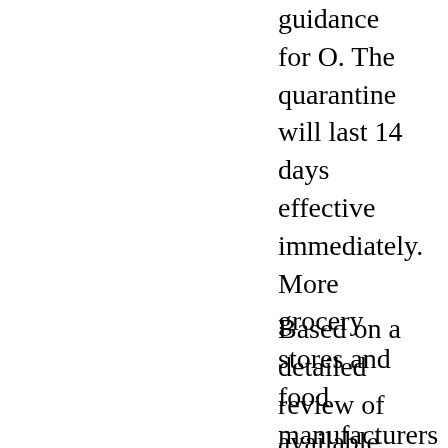guidance for O. The quarantine will last 14 days effective immediately. More grocery stores and food manufacturers have recalled onions and food. The Centers where can you buy cellcept for Disease Control and Prevention (CDC) will provide an update to media on the COVID-19 Outbreak, November 19, 2020. A US federal agency, CDC helps make the healthy choice the easy choice by putting science and prevention into action.
Based on a detailed review of available evidence to date, CDC has posted an update on the COVID-19 response. As of October 22, 2019, 34 deaths in Americans; people can have contact with